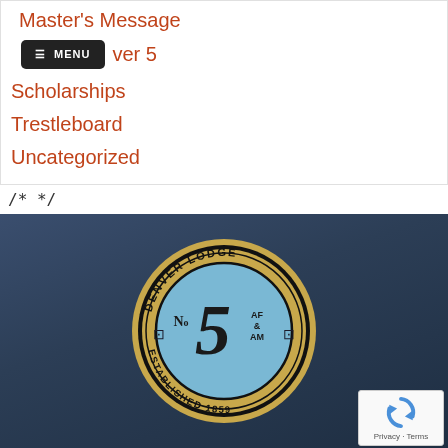Master's Message
☰ MENU   ver 5
Scholarships
Trestleboard
Uncategorized
/* */
[Figure (logo): Denver Lodge No. 5 AF & AM circular seal/logo on dark blue gradient background. Gold ring with text 'DENVER LODGE' at top and 'ESTABLISHED 1859' at bottom. Center shows light blue circle with large stylized '5' and 'No' to its left, 'AF & AM' to its right, and Masonic square-and-compass symbols on both sides.]
[Figure (other): reCAPTCHA widget showing curved arrows icon and 'Privacy · Terms' text]